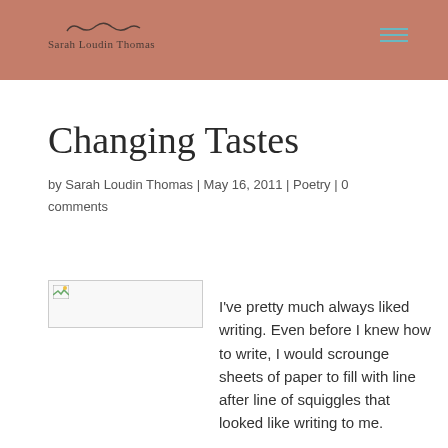Sarah Loudin Thomas
Changing Tastes
by Sarah Loudin Thomas | May 16, 2011 | Poetry | 0 comments
[Figure (photo): Broken image placeholder thumbnail]
I've pretty much always liked writing. Even before I knew how to write, I would scrounge sheets of paper to fill with line after line of squiggles that looked like writing to me.